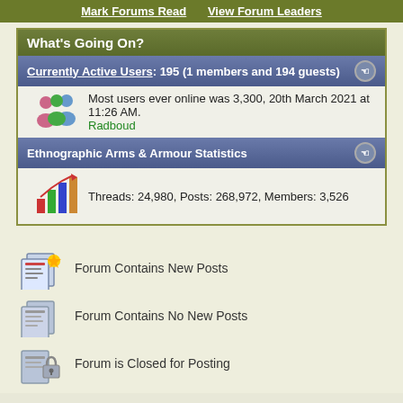Mark Forums Read   View Forum Leaders
What's Going On?
Currently Active Users: 195 (1 members and 194 guests)
Most users ever online was 3,300, 20th March 2021 at 11:26 AM. Radboud
Ethnographic Arms & Armour Statistics
Threads: 24,980, Posts: 268,972, Members: 3,526
Forum Contains New Posts
Forum Contains No New Posts
Forum is Closed for Posting
All times are GMT +1. The time now is 01:33 PM.
Contact Us - Registration & Forum Rules - Privacy Statement - Top
Powered by vBulletin® Version 3.8.11
Copyright ©2000 - 2022, vBulletin Solutions Inc.